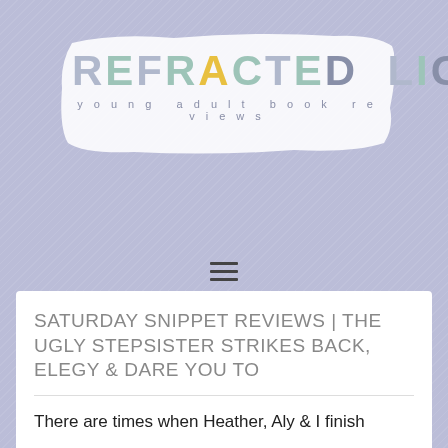[Figure (logo): Refracted Light blog logo — colorful letters on a white brush stroke background with subtitle 'young adult book reviews']
[Figure (other): Hamburger menu icon (three horizontal lines)]
SATURDAY SNIPPET REVIEWS | THE UGLY STEPSISTER STRIKES BACK, ELEGY & DARE YOU TO
There are times when Heather, Aly & I finish